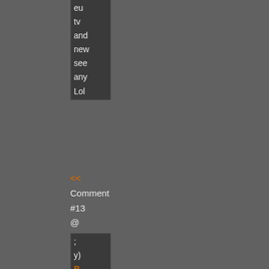eu
tv
and
new
see
any
Lol
<< Comment #13 @ 05:36 CST, 28 February 2014 >>
;
y)
B
[green icon]
m
-R
to
#
e
to
b
w